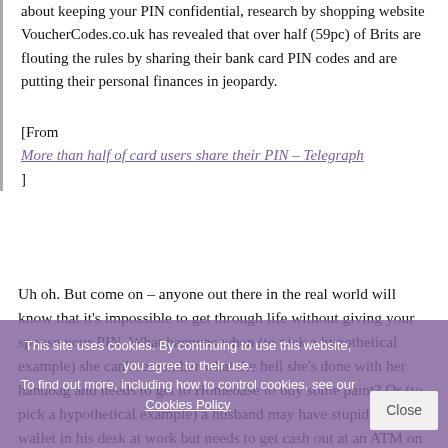about keeping your PIN confidential, research by shopping website VoucherCodes.co.uk has revealed that over half (59pc) of Brits are flouting the rules by sharing their bank card PIN codes and are putting their personal finances in jeopardy.
[From More than half of card users share their PIN – Telegraph ]
Uh oh. But come on – anyone out there in the real world will know that it's impossible to get through life without giving your spouse your PIN. What happens when (to pick a hypothetical example) she can't remember what the hell she's done with her handbag and needs to get to Homebase to buy some paint? Or (to pick a hypothetical example) a husband may have stupidly left his wallet in his desk at work but needs to get cash out at an ATM on the way to a football game. Come on – we've all
This site uses cookies. By continuing to use this website, you agree to their use. To find out more, including how to control cookies, see our Cookies Policy